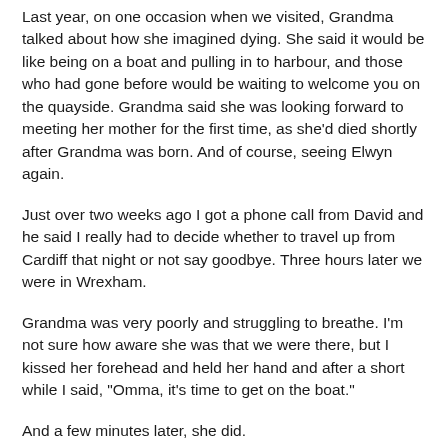Last year, on one occasion when we visited, Grandma talked about how she imagined dying. She said it would be like being on a boat and pulling in to harbour, and those who had gone before would be waiting to welcome you on the quayside. Grandma said she was looking forward to meeting her mother for the first time, as she'd died shortly after Grandma was born. And of course, seeing Elwyn again.
Just over two weeks ago I got a phone call from David and he said I really had to decide whether to travel up from Cardiff that night or not say goodbye. Three hours later we were in Wrexham.
Grandma was very poorly and struggling to breathe. I'm not sure how aware she was that we were there, but I kissed her forehead and held her hand and after a short while I said, "Omma, it's time to get on the boat."
And a few minutes later, she did.
It won't have been a turbulent crossing, which is just as well